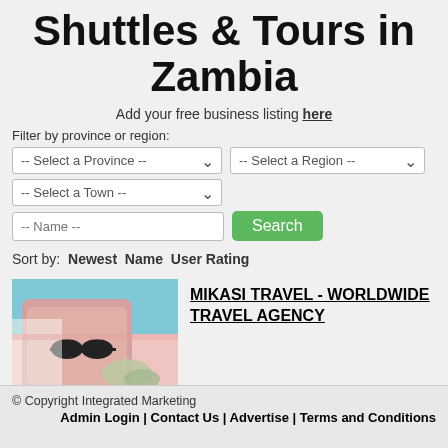Shuttles & Tours in Zambia
Add your free business listing here
Filter by province or region:
Sort by:  Newest  Name  User Rating
[Figure (photo): Photo of packed travel bag with sunglasses and shoes on blue and pink background]
MIKASI TRAVEL - WORLDWIDE TRAVEL AGENCY
Add your free business listing here
© Copyright Integrated Marketing  Admin Login | Contact Us | Advertise | Terms and Conditions